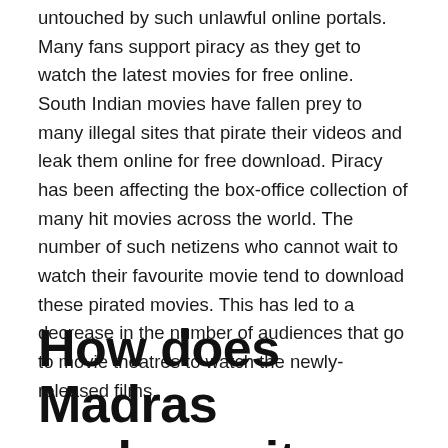untouched by such unlawful online portals. Many fans support piracy as they get to watch the latest movies for free online. South Indian movies have fallen prey to many illegal sites that pirate their videos and leak them online for free download. Piracy has been affecting the box-office collection of many hit movies across the world. The number of such netizens who cannot wait to watch their favourite movie tend to download these pirated movies. This has led to a decrease in the number of audiences that go to movie theatres to watch the newly-released films.
How does Madras rockers site work?